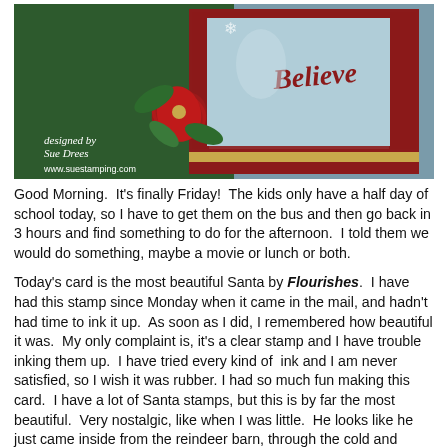[Figure (photo): A Christmas card photo showing a handmade card with a Santa/Believe theme. Red decorative border with gold trim, a large red poinsettia flower, green glittery leaves, and a script 'Believe' text on a light blue background. Text overlay reads 'designed by Sue Drees' and 'www.suestamping.com'.]
Good Morning.  It's finally Friday!  The kids only have a half day of school today, so I have to get them on the bus and then go back in 3 hours and find something to do for the afternoon.  I told them we would do something, maybe a movie or lunch or both.
Today's card is the most beautiful Santa by Flourishes.  I have had this stamp since Monday when it came in the mail, and hadn't had time to ink it up.  As soon as I did, I remembered how beautiful it was.  My only complaint is, it's a clear stamp and I have trouble inking them up.  I have tried every kind of  ink and I am never satisfied, so I wish it was rubber. I had so much fun making this card.  I have a lot of Santa stamps, but this is by far the most beautiful.  Very nostalgic, like when I was little.  He looks like he just came inside from the reindeer barn, through the cold and